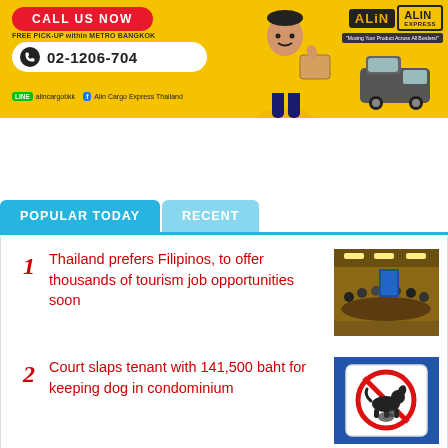[Figure (illustration): ALIN Cargo Express Thailand advertisement banner. Yellow background with red 'CALL US NOW' button, 'FREE PICK-UP within METRO BANGKOK', phone number 02-1206-704 in white rounded box, social media handles: alincargobkk (LINE) and Alin Cargo Express Thailand (Facebook). Man in yellow shirt holding a box, ALIN logo top right with tagline 'Moving Your Product Across All Borders!']
POPULAR TODAY   RECENT
Thailand prefers Filipinos, to offer thousands of tourism job opportunities soon
Court slaps tenant with 141,500 baht for keeping dog in condominium